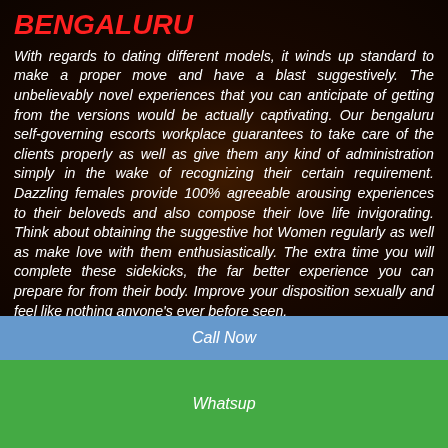BENGALURU
With regards to dating different models, it winds up standard to make a proper move and have a blast suggestively. The unbelievably novel experiences that you can anticipate of getting from the versions would be actually captivating. Our bengaluru self-governing escorts workplace guarantees to take care of the clients properly as well as give them any kind of administration simply in the wake of recognizing their certain requirement. Dazzling females provide 100% agreeable arousing experiences to their beloveds and also compose their love life invigorating. Think about obtaining the suggestive hot Women regularly as well as make love with them enthusiastically. The extra time you will complete these sidekicks, the far better experience you can prepare for from their body. Improve your disposition sexually and feel like nothing anyone's ever before seen.
Choose a practical selection by employing a buxom
Call Now
Whatsup